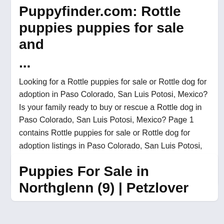Puppyfinder.com: Rottle puppies puppies for sale and ...
Looking for a Rottle puppies for sale or Rottle dog for adoption in Paso Colorado, San Luis Potosi, Mexico? Is your family ready to buy or rescue a Rottle dog in Paso Colorado, San Luis Potosi, Mexico? Page 1 contains Rottle puppies for sale or Rottle dog for adoption listings in Paso Colorado, San Luis Potosi, Mexico. This page displays 10 Rottle dog classified listings in Paso Colorado, San ... More
Puppies For Sale in Northglenn (9) | Petzlover